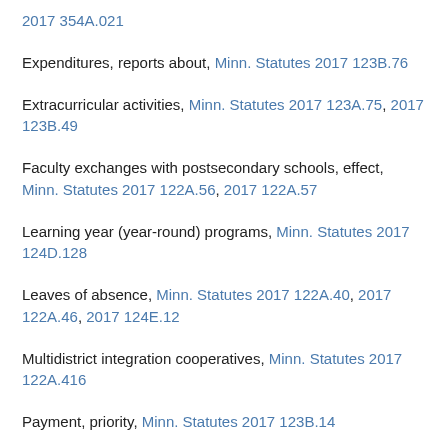2017 354A.021
Expenditures, reports about, Minn. Statutes 2017 123B.76
Extracurricular activities, Minn. Statutes 2017 123A.75, 2017 123B.49
Faculty exchanges with postsecondary schools, effect, Minn. Statutes 2017 122A.56, 2017 122A.57
Learning year (year-round) programs, Minn. Statutes 2017 124D.128
Leaves of absence, Minn. Statutes 2017 122A.40, 2017 122A.46, 2017 124E.12
Multidistrict integration cooperatives, Minn. Statutes 2017 122A.416
Payment, priority, Minn. Statutes 2017 123B.14
Sabbatical leave, Minn. Statutes 2017 354.092
School Administrators Board members, reduction